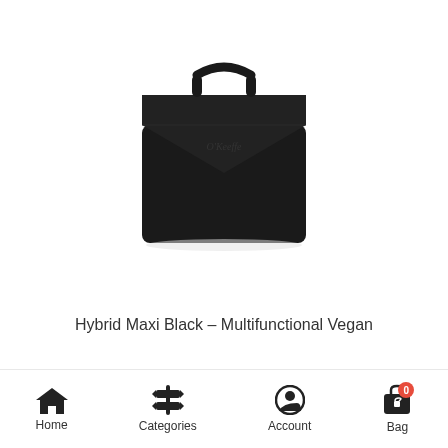[Figure (photo): Black vegan leather handbag (Hybrid Maxi Black) with a top handle, envelope-style flap closure with angular/geometric design, front logo embossing, photographed on white background]
Hybrid Maxi Black – Multifunctional Vegan
Home | Categories | Account | Bag (0)